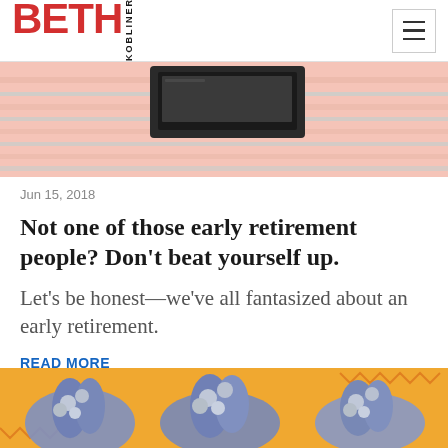BETH KOBLINER
[Figure (illustration): Partial illustration of a desk or workspace with pink and blue pastel tones, showing horizontal stripes and a dark rectangular object on top, cropped at the top of the page.]
Jun 15, 2018
Not one of those early retirement people? Don't beat yourself up.
Let's be honest—we've all fantasized about an early retirement.
READ MORE
[Figure (illustration): Illustration of multiple blue-toned hands holding coins against an orange background with zigzag patterns, partially cropped at the bottom of the page.]